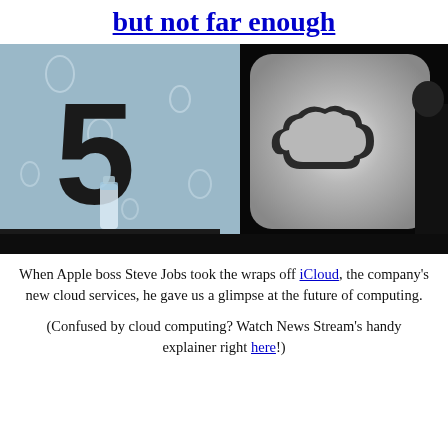but not far enough
[Figure (photo): Presentation slide showing iOS 5 logo and iCloud logo on a large screen, with a person (Steve Jobs) visible at the right edge in a dark background setting.]
When Apple boss Steve Jobs took the wraps off iCloud, the company's new cloud services, he gave us a glimpse at the future of computing.
(Confused by cloud computing? Watch News Stream's handy explainer right here!)